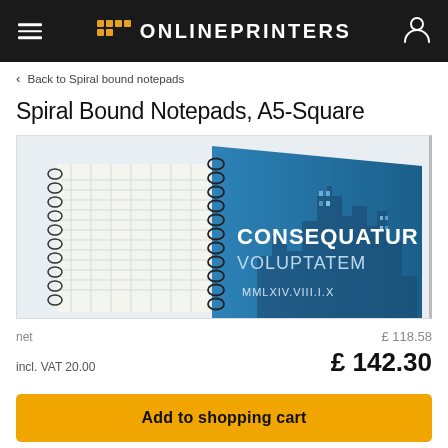ONLINEPRINTERS
< Back to Spiral bound notepads
Spiral Bound Notepads, A5-Square
[Figure (photo): Product photo of a spiral bound notepad with blue cover showing 'CONSEQUATUR VOLUPTATEM' and 'MMLXIV.VIII.I.X' text, with cityscape background. Two spiral notepads visible with grid/blank pages.]
net £ 118.58
incl. VAT 20.00 £ 142.30
Add to shopping cart